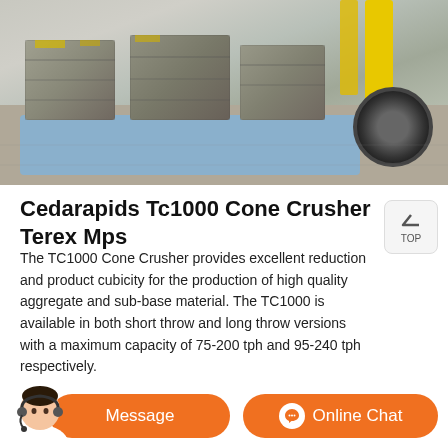[Figure (photo): Photo of baled scrap metal on a blue pallet with a yellow forklift in the background on a concrete floor]
Cedarapids Tc1000 Cone Crusher Terex Mps
The TC1000 Cone Crusher provides excellent reduction and product cubicity for the production of high quality aggregate and sub-base material. The TC1000 is available in both short throw and long throw versions with a maximum capacity of 75-200 tph and 95-240 tph respectively.